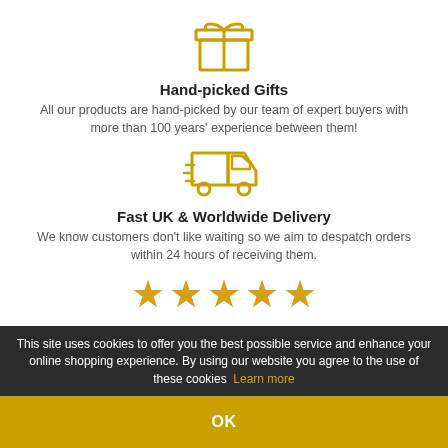[Figure (illustration): Gold outline icon of a gift box with ribbon]
Hand-picked Gifts
All our products are hand-picked by our team of expert buyers with more than 100 years' experience between them!
[Figure (illustration): Gold outline icon of a delivery truck with speed lines]
Fast UK & Worldwide Delivery
We know customers don't like waiting so we aim to despatch orders within 24 hours of receiving them.
[Figure (illustration): Five gold star rating icons in a row]
Excellent Customer Service
We pride ourselves on our "Excellent" five-star customer feedback, easily verifiable through over 9000 5-star reviews.
This site uses cookies to offer you the best possible service and enhance your online shopping experience. By using our website you agree to the use of these cookies  Learn more
OK